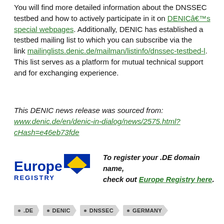You will find more detailed information about the DNSSEC testbed and how to actively participate in it on DENICâ€™s special webpages. Additionally, DENIC has established a testbed mailing list to which you can subscribe via the link mailinglists.denic.de/mailman/listinfo/dnssec-testbed-l. This list serves as a platform for mutual technical support and for exchanging experience.
This DENIC news release was sourced from: www.denic.de/en/denic-in-dialog/news/2575.html?cHash=e46eb73fde
[Figure (logo): Europe Registry logo with blue text and yellow/blue flag icon, alongside italic bold text: To register your .DE domain name, check out Europe Registry here.]
• .DE  • DENIC  • DNSSEC  • GERMANY